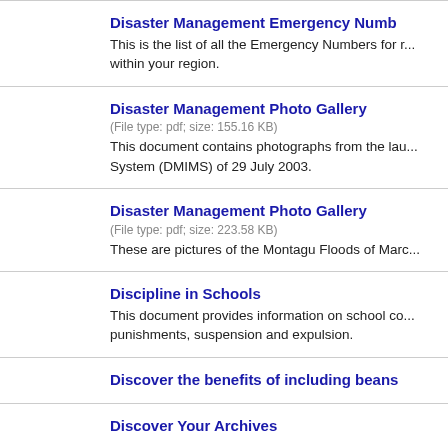Disaster Management Emergency Numb...
This is the list of all the Emergency Numbers for r... within your region.
Disaster Management Photo Gallery
(File type: pdf; size: 155.16 KB)
This document contains photographs from the lau... System (DMIMS) of 29 July 2003.
Disaster Management Photo Gallery
(File type: pdf; size: 223.58 KB)
These are pictures of the Montagu Floods of Marc...
Discipline in Schools
This document provides information on school co... punishments, suspension and expulsion.
Discover the benefits of including beans...
Discover Your Archives